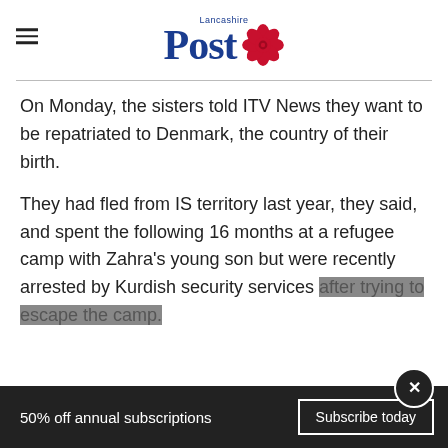Lancashire Post
On Monday, the sisters told ITV News they want to be repatriated to Denmark, the country of their birth.
They had fled from IS territory last year, they said, and spent the following 16 months at a refugee camp with Zahra’s young son but were recently arrested by Kurdish security services after trying to escape the camp.
50% off annual subscriptions  Subscribe today